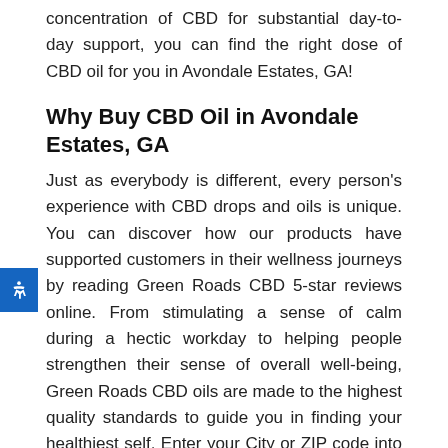concentration of CBD for substantial day-to-day support, you can find the right dose of CBD oil for you in Avondale Estates, GA!
Why Buy CBD Oil in Avondale Estates, GA
Just as everybody is different, every person's experience with CBD drops and oils is unique. You can discover how our products have supported customers in their wellness journeys by reading Green Roads CBD 5-star reviews online. From stimulating a sense of calm during a hectic workday to helping people strengthen their sense of overall well-being, Green Roads CBD oils are made to the highest quality standards to guide you in finding your healthiest self. Enter your City or ZIP code into our store locator to find out where to buy CBD oil in Avondale Estates, GA, and discover a new way to enhance your regular wellness routine!
What Kind of CBD Oil Should I Buy?
Are you considering working cannabinoids into your normal self-care practices? Green Roads makes a variety of products for both CBD connoisseurs and beginners, making